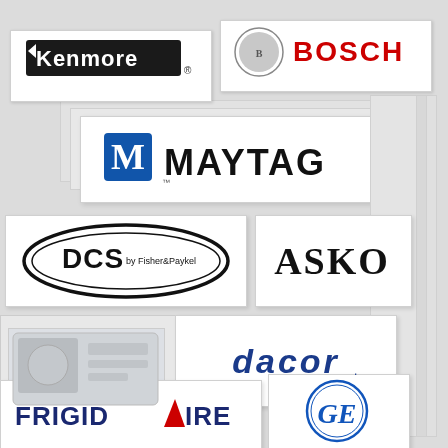[Figure (logo): Kenmore brand logo - white background with dark stylized text]
[Figure (logo): Bosch brand logo - circular Bosch emblem with red Bosch text]
[Figure (logo): Maytag brand logo - blue M icon with MAYTAG text]
[Figure (logo): DCS by Fisher & Paykel logo - oval black border with DCS text]
[Figure (logo): ASKO brand logo - bold black text ASKO]
[Figure (logo): dacor brand logo - stylized blue italic dacor text with dot]
[Figure (logo): FRIGIDAIRE brand logo - dark blue text FRIGIDAIRE with red triangle]
[Figure (logo): GE brand logo - circular blue GE monogram]